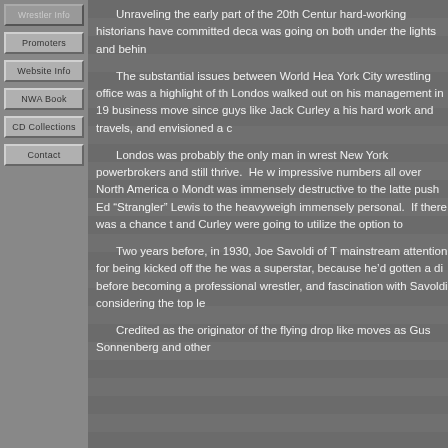Promoters
Website Info
NWA Book
CD Collections
Contact
Unraveling the early part of the 20th Centur... hard-working historians have committed deca... was going on both under the lights and behin...
The substantial issues between World Hea... York City wrestling office was a highlight of th... Londos walked out on his management in 19... business move since guys like Jack Curley a... his hard work and travels, and envisioned a c...
Londos was probably the only man in wrest... New York powerbrokers and still thrive. He w... impressive numbers all over North America o... Mondt was immensely destructive to the latte... push Ed "Strangler" Lewis to the heavyweigh... immensely personal. If there was a chance t... and Curley were going to utilize the option to...
Two years before, in 1930, Joe Savoldi of T... mainstream attention for being kicked off the... he was a superstar, because he'd gotten a di... before becoming a professional wrestler, and... fascination with Savoldi considering the top le...
Credited as the originator of the flying drop... like moves as Gus Sonnenberg and other...